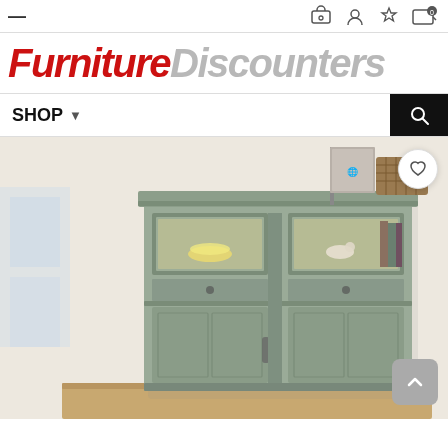Navigation bar with hamburger menu and icons
[Figure (logo): Furniture Discounters logo in bold italic text, 'Furniture' in red and 'Discounters' in light gray]
SHOP ▾ navigation with search icon
[Figure (photo): Gray/sage colored wooden buffet/china cabinet with two glass-panel upper doors, two drawers, and two lower solid panel doors. Items displayed on top including a framed picture and wicker basket. Interior lit with yellow bowls and a ceramic bird visible. Wishlist heart button top right. Back-to-top arrow button bottom right.]